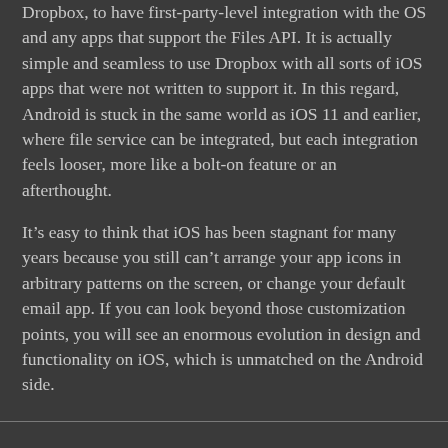Dropbox, to have first-party-level integration with the OS and any apps that support the Files API. It is actually simple and seamless to use Dropbox with all sorts of iOS apps that were not written to support it. In this regard, Android is stuck in the same world as iOS 11 and earlier, where file service can be integrated, but each integration feels looser, more like a bolt-on feature or an afterthought.
It’s easy to think that iOS has been stagnant for many years because you still can’t arrange your app icons in arbitrary patterns on the screen, or change your default email app. If you can look beyond those customization points, you will see an enormous evolution in design and functionality on iOS, which is unmatched on the Android side.